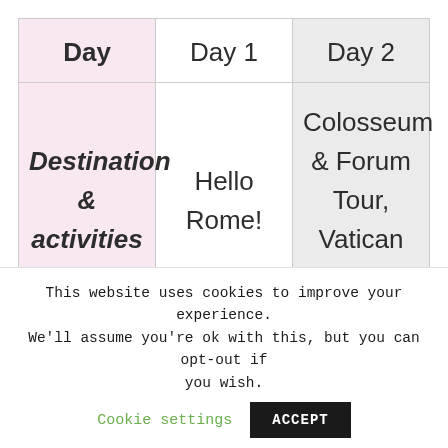| Day | Day 1 | Day 2 |
| --- | --- | --- |
| Destination & activities | Hello Rome! | Colosseum & Forum Tour, Vatican city, and |
This website uses cookies to improve your experience. We'll assume you're ok with this, but you can opt-out if you wish. Cookie settings ACCEPT